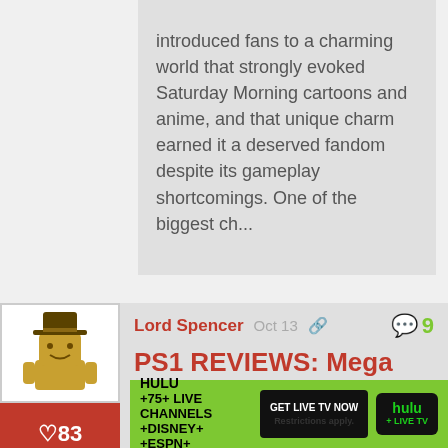introduced fans to a charming world that strongly evoked Saturday Morning cartoons and anime, and that unique charm earned it a deserved fandom despite its gameplay shortcomings. One of the biggest ch...
Lord Spencer  Oct 13
♡83
PS1 REVIEWS: Mega Man Legends 2
The first Mega Man Legends game had a unique charm that made it a cult favorite despite what I consider to be some significant flaws and
[Figure (other): Advertisement banner for Hulu Live TV showing HULU +75+ LIVE CHANNELS +DISNEY+ +ESPN+ GET LIVE TV NOW button and Hulu + Live TV logo]